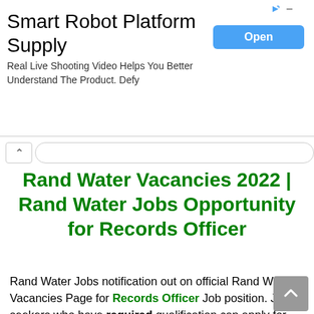[Figure (screenshot): Advertisement banner for Smart Robot Platform Supply with Open button]
Rand Water Vacancies 2022 | Rand Water Jobs Opportunity for Records Officer
Rand Water Jobs notification out on official Rand Water Vacancies Page for Records Officer Job position. Job seekers who have required qualification can apply for the Records Officer job position. The posting for the Rand Water Records Officer in Johannesburg. Salary – R311,979.00 Yearly.